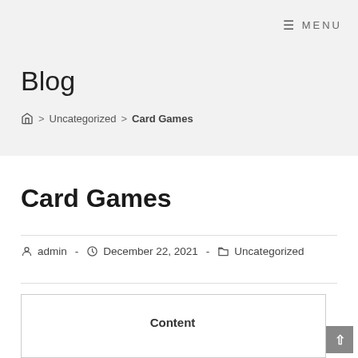☰ MENU
Blog
🏠 > Uncategorized > Card Games
Card Games
admin - December 22, 2021 - Uncategorized
Content